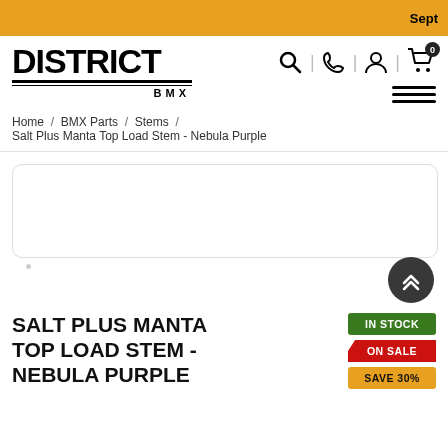Sept
[Figure (logo): District BMX logo with bold black text and double underline]
Home / BMX Parts / Stems / Salt Plus Manta Top Load Stem - Nebula Purple
[Figure (screenshot): Product image carousel slot (empty rounded rectangle)]
SALT PLUS MANTA TOP LOAD STEM - NEBULA PURPLE
IN STOCK
ON SALE
SAVE 30%